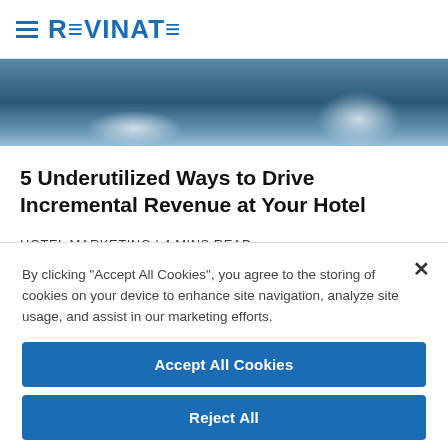REVINATE
[Figure (photo): Hotel poolside or resort scene with lounge chairs and umbrellas, blue-toned photograph cropped as a banner strip]
5 Underutilized Ways to Drive Incremental Revenue at Your Hotel
HOTEL MARKETING | 4 MINS READ
By clicking “Accept All Cookies”, you agree to the storing of cookies on your device to enhance site navigation, analyze site usage, and assist in our marketing efforts.
Accept All Cookies
Reject All
Cookies Settings